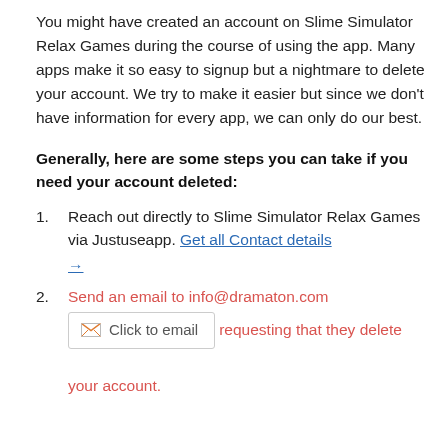You might have created an account on Slime Simulator Relax Games during the course of using the app. Many apps make it so easy to signup but a nightmare to delete your account. We try to make it easier but since we don't have information for every app, we can only do our best.
Generally, here are some steps you can take if you need your account deleted:
Reach out directly to Slime Simulator Relax Games via Justuseapp. Get all Contact details →
Send an email to info@dramaton.com [Click to email] requesting that they delete your account.